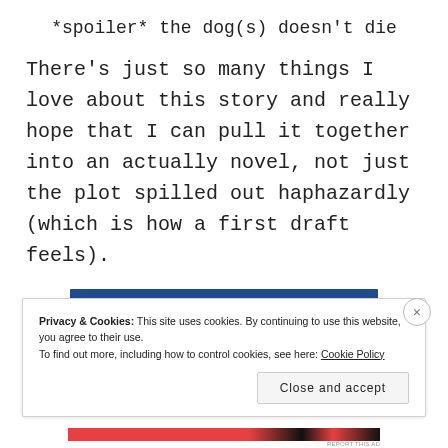*spoiler* the dog(s) doesn't die
There's just so many things I love about this story and really hope that I can pull it together into an actually novel, not just the plot spilled out haphazardly (which is how a first draft feels).
[Figure (other): Dark blue horizontal advertisement banner bar]
REPORT THIS AD
Privacy & Cookies: This site uses cookies. By continuing to use this website, you agree to their use.
To find out more, including how to control cookies, see here: Cookie Policy
Close and accept